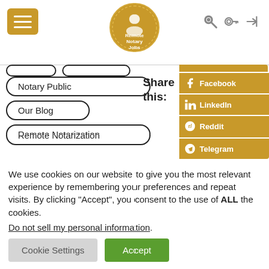[Figure (logo): Remote Notary Jobs circular gold badge logo with hamburger menu icon and navigation icons]
Notary Public
Our Blog
Remote Notarization
[Figure (infographic): Share this panel with Facebook, LinkedIn, Reddit, and Telegram buttons in gold/orange color]
We use cookies on our website to give you the most relevant experience by remembering your preferences and repeat visits. By clicking “Accept”, you consent to the use of ALL the cookies.
Do not sell my personal information.